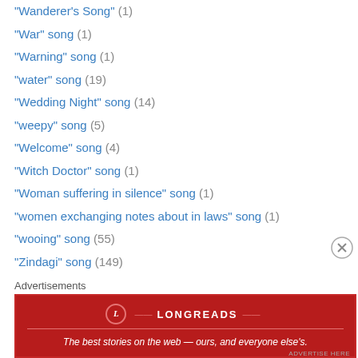"Wanderer's Song" (1)
"War" song (1)
"Warning" song (1)
"water" song (19)
"Wedding Night" song (14)
"weepy" song (5)
"Welcome" song (4)
"Witch Doctor" song (1)
"Woman suffering in silence" song (1)
"women exchanging notes about in laws" song (1)
"wooing" song (55)
"Zindagi" song (149)
"aankh michauli" song (3)
"been" song (16)
"betrayal" song (10)
"Cycle Rickshaw" song (1)
Advertisements
[Figure (other): Longreads advertisement banner: red background with Longreads logo and tagline 'The best stories on the web — ours, and everyone else's.']